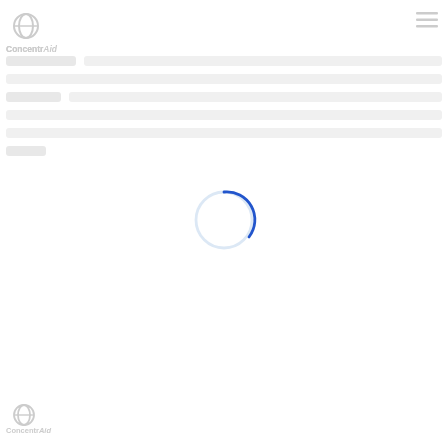[Figure (logo): ConcentriAid logo — circular icon with overlapping rings and text 'ConcentriAid' below, top-left header area]
[Figure (other): Hamburger menu icon (three horizontal lines) in top-right corner]
[Figure (other): Light gray horizontal skeleton/loading bars suggesting content placeholders]
[Figure (other): Spinning loading circle indicator — thin circle outline with a short blue arc segment near the top, centered on the page]
[Figure (logo): ConcentriAid logo repeated in bottom-left footer area — smaller version]